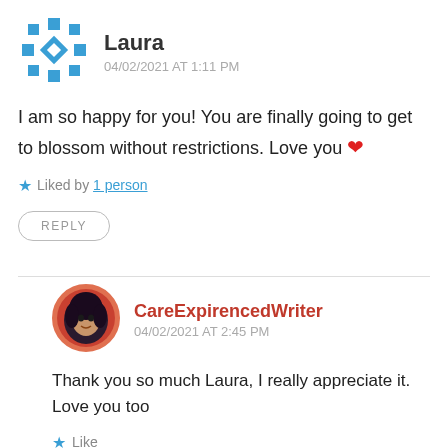[Figure (illustration): WordPress-style snowflake/diamond pattern avatar icon in blue, for user Laura]
Laura
04/02/2021 AT 1:11 PM
I am so happy for you! You are finally going to get to blossom without restrictions. Love you ❤
Liked by 1 person
REPLY
[Figure (photo): Circular avatar photo of CareExpirencedWriter, woman with dark hair, orange/red circular border]
CareExpirencedWriter
04/02/2021 AT 2:45 PM
Thank you so much Laura, I really appreciate it. Love you too
Like